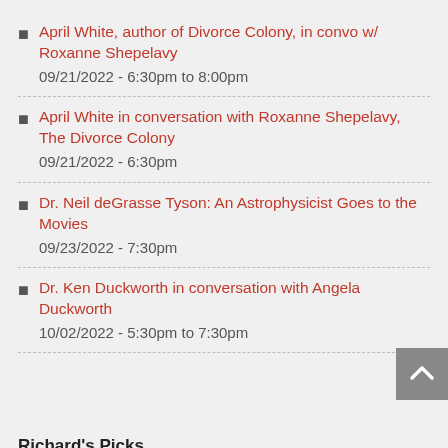April White, author of Divorce Colony, in convo w/ Roxanne Shepelavy
09/21/2022 - 6:30pm to 8:00pm
April White in conversation with Roxanne Shepelavy, The Divorce Colony
09/21/2022 - 6:30pm
Dr. Neil deGrasse Tyson: An Astrophysicist Goes to the Movies
09/23/2022 - 7:30pm
Dr. Ken Duckworth in conversation with Angela Duckworth
10/02/2022 - 5:30pm to 7:30pm
Richard's Picks